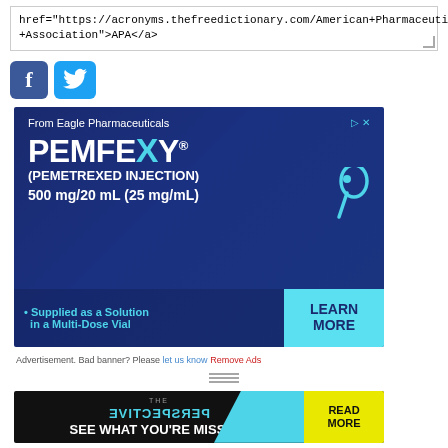href="https://acronyms.thefreedictionary.com/American+Pharmaceutical+Association">APA</a>
[Figure (logo): Facebook and Twitter social media icons]
[Figure (infographic): Advertisement banner for PEMFEXY (pemetrexed injection) 500 mg/20 mL (25 mg/mL) from Eagle Pharmaceuticals. Supplied as a Solution in a Multi-Dose Vial. Learn More button.]
Advertisement. Bad banner? Please let us know Remove Ads
[Figure (infographic): THE PERSPECTIVE - SEE WHAT YOU'RE MISSING - READ MORE banner advertisement]